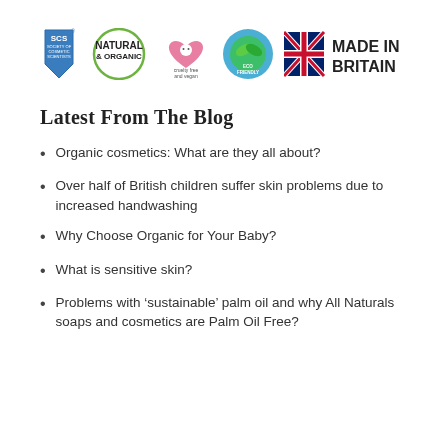[Figure (logo): Row of certification and brand logos: SCS (Society of Cosmetic Scientists) badge, Natural & Organic circle logo, Cruelty Free and Vegan heart logo, Eco Friendly circle logo, Made in Britain Union Jack logo]
Latest From The Blog
Organic cosmetics: What are they all about?
Over half of British children suffer skin problems due to increased handwashing
Why Choose Organic for Your Baby?
What is sensitive skin?
Problems with ‘sustainable’ palm oil and why All Naturals soaps and cosmetics are Palm Oil Free?